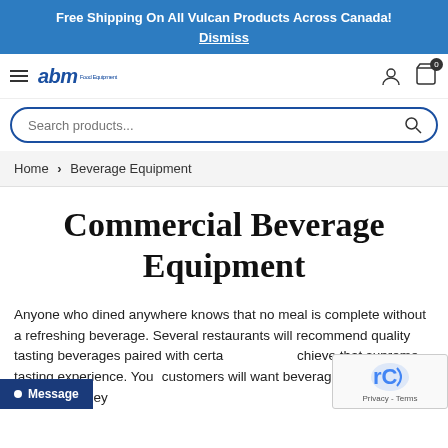Free Shipping On All Vulcan Products Across Canada! Dismiss
[Figure (logo): ABM Food Equipment logo with hamburger menu, user icon, and cart icon showing 0 items]
[Figure (screenshot): Search products... input bar with search icon]
Home > Beverage Equipment
Commercial Beverage Equipment
Anyone who dined anywhere knows that no meal is complete without a refreshing beverage. Several restaurants will recommend quality tasting beverages paired with certain foods to achieve that supreme tasting experience. You customers will want beverages that taste as enticing as they